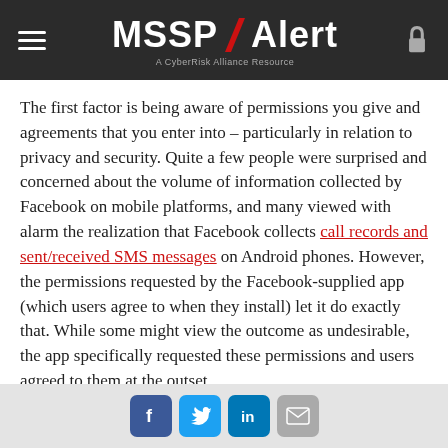MSSP Alert — A CyberRisk Alliance Resource
The first factor is being aware of permissions you give and agreements that you enter into – particularly in relation to privacy and security. Quite a few people were surprised and concerned about the volume of information collected by Facebook on mobile platforms, and many viewed with alarm the realization that Facebook collects call records and sent/received SMS messages on Android phones. However, the permissions requested by the Facebook-supplied app (which users agree to when they install) let it do exactly that. While some might view the outcome as undesirable, the app specifically requested these permissions and users agreed to them at the outset.
Social share icons: Facebook, Twitter, LinkedIn, Email